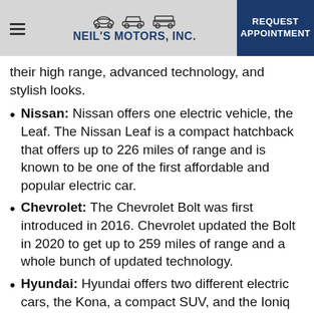NEIL'S MOTORS, INC. | REQUEST APPOINTMENT
their high range, advanced technology, and stylish looks.
Nissan: Nissan offers one electric vehicle, the Leaf. The Nissan Leaf is a compact hatchback that offers up to 226 miles of range and is known to be one of the first affordable and popular electric car.
Chevrolet: The Chevrolet Bolt was first introduced in 2016. Chevrolet updated the Bolt in 2020 to get up to 259 miles of range and a whole bunch of updated technology.
Hyundai: Hyundai offers two different electric cars, the Kona, a compact SUV, and the Ioniq